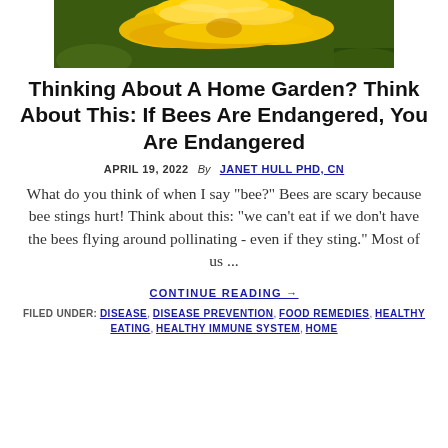[Figure (photo): Close-up photo of yellow flower petals (dandelion or similar) with green background]
Thinking About A Home Garden? Think About This: If Bees Are Endangered, You Are Endangered
APRIL 19, 2022  By  JANET HULL PHD, CN
What do you think of when I say "bee?" Bees are scary because bee stings hurt! Think about this: "we can't eat if we don't have the bees flying around pollinating - even if they sting." Most of us ...
CONTINUE READING →
FILED UNDER: DISEASE, DISEASE PREVENTION, FOOD REMEDIES, HEALTHY EATING, HEALTHY IMMUNE SYSTEM, HOME